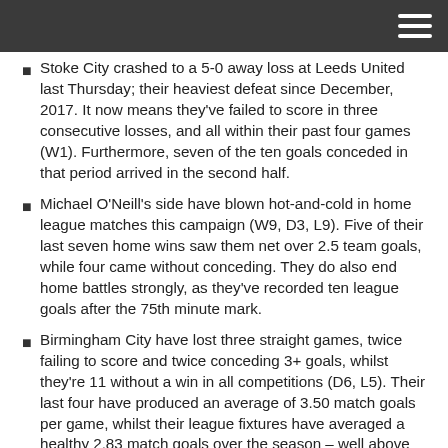Stoke City crashed to a 5-0 away loss at Leeds United last Thursday; their heaviest defeat since December, 2017. It now means they've failed to score in three consecutive losses, and all within their past four games (W1). Furthermore, seven of the ten goals conceded in that period arrived in the second half.
Michael O'Neill's side have blown hot-and-cold in home league matches this campaign (W9, D3, L9). Five of their last seven home wins saw them net over 2.5 team goals, while four came without conceding. They do also end home battles strongly, as they've recorded ten league goals after the 75th minute mark.
Birmingham City have lost three straight games, twice failing to score and twice conceding 3+ goals, whilst they're 11 without a win in all competitions (D6, L5). Their last four have produced an average of 3.50 match goals per game, whilst their league fixtures have averaged a healthy 2.83 match goals over the season – well above the league average.
On their travels, the 'Blues' have failed to score in five of their last eight clashes in all competitions (W2, D4, L2). They did manage four clean sheets in said games, but they've only managed to score in